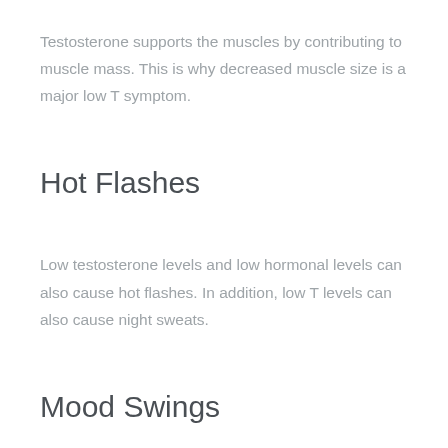Testosterone supports the muscles by contributing to muscle mass. This is why decreased muscle size is a major low T symptom.
Hot Flashes
Low testosterone levels and low hormonal levels can also cause hot flashes. In addition, low T levels can also cause night sweats.
Mood Swings
While increased testosterone levels can cause dangerous mood swings, such as when a man takes